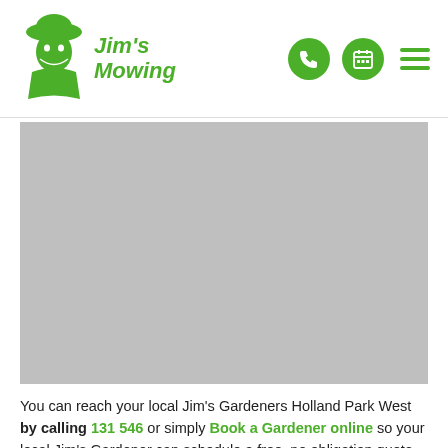Jim's Mowing — navigation header with logo and icons
[Figure (photo): Grey placeholder image representing a garden or mowing service photo]
You can reach your local Jim's Gardeners Holland Park West by calling 131 546 or simply Book a Gardener online so your local Jim's Gardener can schedule a free, no obligation quote.
Our Gardener's quote will vary depending on the size and state of your garden and what services you require. That's why it is